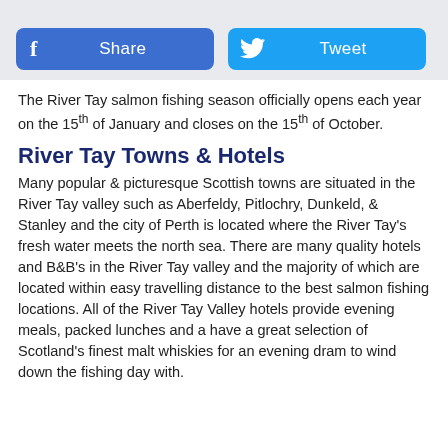[Figure (other): Facebook Share button (blue rounded rectangle with Facebook 'f' icon and 'Share' label) and Twitter Tweet button (light blue rounded rectangle with Twitter bird icon and 'Tweet' label)]
The River Tay salmon fishing season officially opens each year on the 15th of January and closes on the 15th of October.
River Tay Towns & Hotels
Many popular & picturesque Scottish towns are situated in the River Tay valley such as Aberfeldy, Pitlochry, Dunkeld, & Stanley and the city of Perth is located where the River Tay's fresh water meets the north sea. There are many quality hotels and B&B's in the River Tay valley and the majority of which are located within easy travelling distance to the best salmon fishing locations. All of the River Tay Valley hotels provide evening meals, packed lunches and a have a great selection of Scotland's finest malt whiskies for an evening dram to wind down the fishing day with.